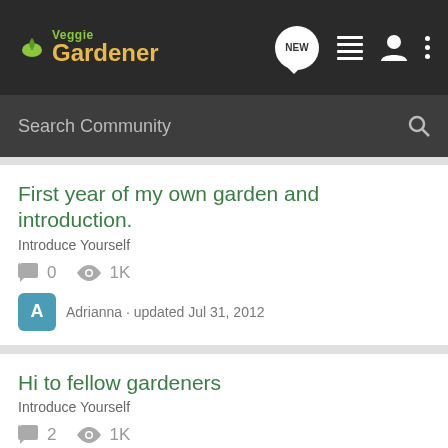Veggie Gardener - navigation bar with NEW, list, person, and dots icons
Search Community
First year of my own garden and introduction.
Introduce Yourself
0 comments  1K views
Adrianna · updated Jul 31, 2012
Hi to fellow gardeners
Introduce Yourself
2 comments  1K views
garden.trowel · updated Nov 5, 2012
Newbie from New Zealand!